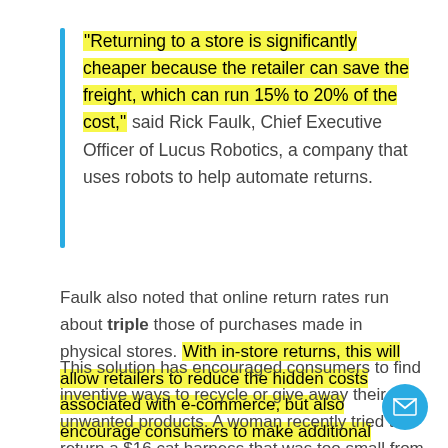“Returning to a store is significantly cheaper because the retailer can save the freight, which can run 15% to 20% of the cost,” said Rick Faulk, Chief Executive Officer of Lucus Robotics, a company that uses robots to help automate returns.
Faulk also noted that online return rates run about triple those of purchases made in physical stores. With in-store returns, this will allow retailers to reduce the hidden costs associated with e-commerce, but also encourage consumers to make additional purchases.
This solution has encouraged consumers to find inventive ways to recycle or give away their unwanted products. A woman recently tried to return a $16 cat harness that was too small from